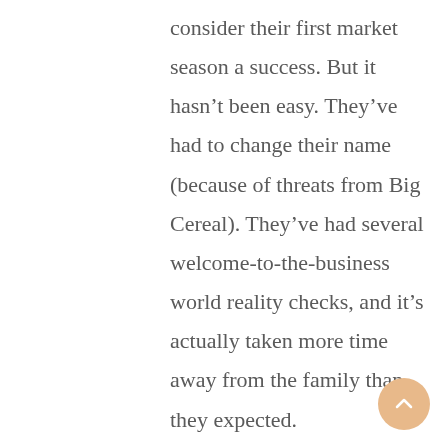consider their first market season a success. But it hasn’t been easy. They’ve had to change their name (because of threats from Big Cereal). They’ve had several welcome-to-the-business world reality checks, and it’s actually taken more time away from the family than they expected.

But hope and more family hikes are in sight.

“We knew it would be hard, but it definitely took up a lot of time in the